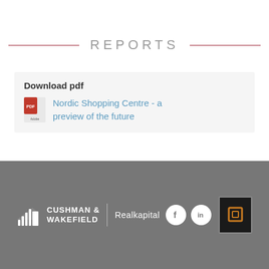REPORTS
Download pdf
Nordic Shopping Centre - a preview of the future
[Figure (logo): Cushman & Wakefield | Realkapital logo with building icon, social media icons (Facebook, LinkedIn), and brand box]